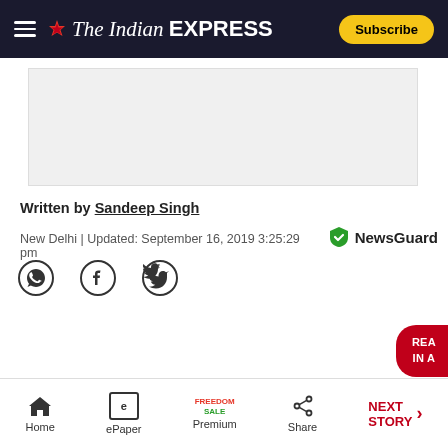The Indian EXPRESS — Subscribe
[Figure (other): Advertisement placeholder gray box]
Written by Sandeep Singh
New Delhi | Updated: September 16, 2019 3:25:29 pm
[Figure (logo): NewsGuard shield logo with text NewsGuard]
[Figure (other): Social sharing icons: WhatsApp, Facebook, Twitter]
[Figure (other): Red floating button: READ IN APP]
Home | ePaper | Premium FREEDOM SALE | Share | NEXT STORY